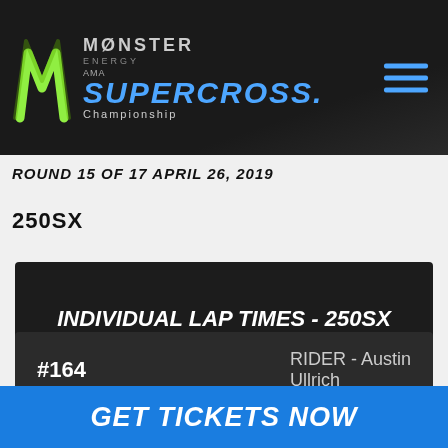[Figure (logo): Monster Energy AMA Supercross Championship logo on dark header bar with hamburger menu icon]
ROUND 15 OF 17 April 26, 2019
250SX
INDIVIDUAL LAP TIMES - 250SX Group C Qualifying Practice 2
#164   RIDER - Austin Ullrich
GET TICKETS NOW